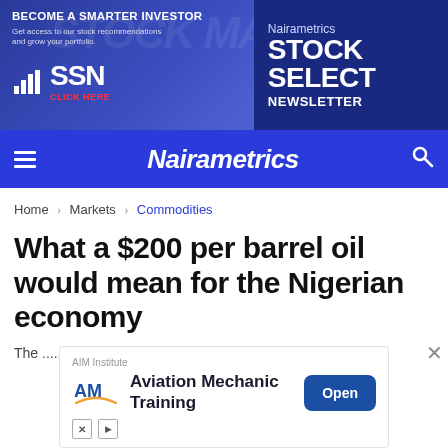[Figure (infographic): Nairametrics Stock Select Newsletter banner ad with SSN logo on blue background]
Nairametrics
Home > Markets > Commodities
What a $200 per barrel oil would mean for the Nigerian economy
[Figure (infographic): AIM Institute Aviation Mechanic Training advertisement with Open button]